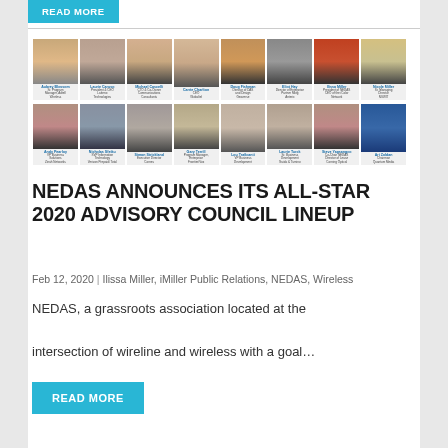[Figure (photo): READ MORE button (cyan/teal) at top of page, partially visible]
[Figure (photo): Grid of professional headshots for NEDAS 2020 Advisory Council members. Row 1: Aubrey Blossom (Sr. Program Manager, Adtell), Laurie Caruso (President & CEO, Latteno Technologies), Michael Cascelli (CTO & Co-Owner, Communications Consultants), Carrie Charlton (CEO, Globaltel), Doug Fishman (Director of DAS and Design, Geoverse), Eliot Hay (Director of Enterprise Partner Mktg, Anterix), Ilissa Miller (President of iMiller, CEO of the iColor Network), Nicole Miller (Sr. Managing Director, NSWIT). Row 2: Andy Pearloy (VP Business Solutions, Zinah Networks), Nicholas Sfetku (SVP Information Technology, Verizon Prepaid/ Total), Simon Strickland (Executive Director, Cornes), Gary Terrill (Program Manager, Enterprise, Frontier/Vox), Lou Traficanti (VP Business Development), Laurie Turck (Sr. Business Development/Associate Director of Leases, Guida & Tumino), Steve Yapsangco (Co-Chair NEDAS, Director of Lease, Corning Optical), Ari Zoldan (Chairman, Quantum Media)]
NEDAS ANNOUNCES ITS ALL-STAR 2020 ADVISORY COUNCIL LINEUP
Feb 12, 2020 | Ilissa Miller, iMiller Public Relations, NEDAS, Wireless
NEDAS, a grassroots association located at the intersection of wireline and wireless with a goal...
[Figure (other): READ MORE button (cyan/teal) at bottom of page]